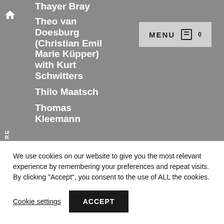Thayer Bray
Theo van Doesburg (Christian Emil Marie Küpper) with Kurt Schwitters
Thilo Maatsch
Thomas Kleemann
We use cookies on our website to give you the most relevant experience by remembering your preferences and repeat visits. By clicking "Accept", you consent to the use of ALL the cookies.
Cookie settings
ACCEPT